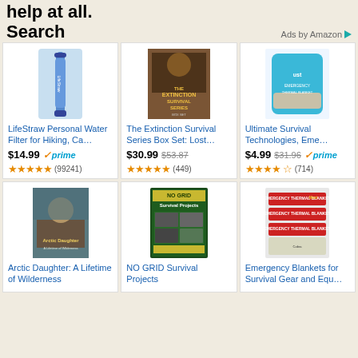help at all.
Search
Ads by Amazon
[Figure (photo): LifeStraw personal water filter product image - blue cylindrical filter]
LifeStraw Personal Water Filter for Hiking, Ca…
$14.99 prime ★★★★★ (99241)
[Figure (photo): The Extinction Survival Series Box Set book cover with soldier]
The Extinction Survival Series Box Set: Lost…
$30.99 $53.87 ★★★★★ (449)
[Figure (photo): UST Ultimate Survival Technologies Emergency product in blue bag]
Ultimate Survival Technologies, Eme…
$4.99 $31.96 prime ★★★★☆ (714)
[Figure (photo): Arctic Daughter book cover showing woman in winter wilderness]
Arctic Daughter: A Lifetime of Wilderness
[Figure (photo): NO GRID Survival Projects book cover with green background and project images]
NO GRID Survival Projects
[Figure (photo): Emergency thermal blankets by Mart Cobra - multiple foil blankets stacked]
Emergency Blankets for Survival Gear and Equ…